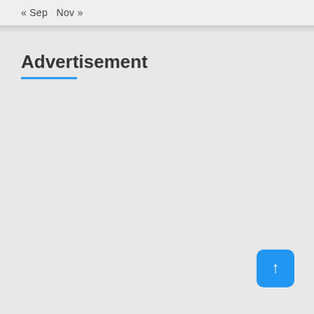« Sep  Nov »
Advertisement
[Figure (other): Blue back-to-top button with upward arrow in bottom right corner]